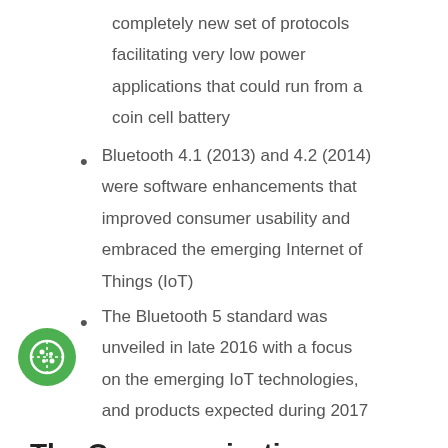completely new set of protocols facilitating very low power applications that could run from a coin cell battery
Bluetooth 4.1 (2013) and 4.2 (2014) were software enhancements that improved consumer usability and embraced the emerging Internet of Things (IoT)
The Bluetooth 5 standard was unveiled in late 2016 with a focus on the emerging IoT technologies, and products expected during 2017
The Consumerization